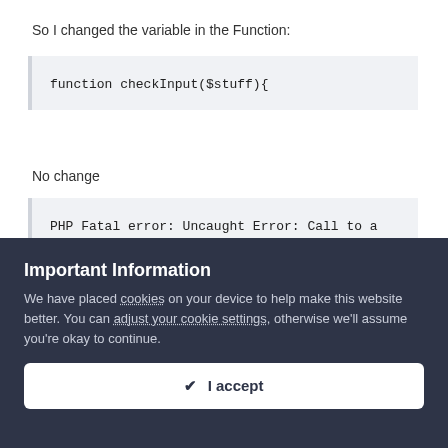So I changed the variable in the Function:
No change
Important Information
We have placed cookies on your device to help make this website better. You can adjust your cookie settings, otherwise we'll assume you're okay to continue.
✔  I accept